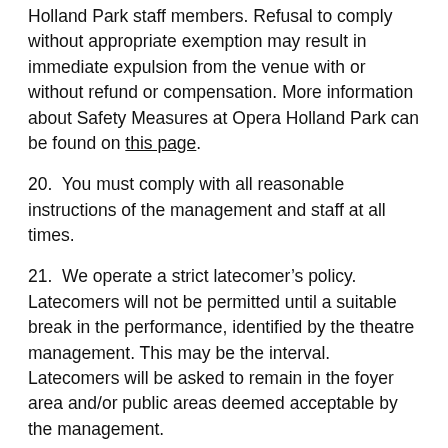Holland Park staff members. Refusal to comply without appropriate exemption may result in immediate expulsion from the venue with or without refund or compensation. More information about Safety Measures at Opera Holland Park can be found on this page.
20. You must comply with all reasonable instructions of the management and staff at all times.
21. We operate a strict latecomer’s policy. Latecomers will not be permitted until a suitable break in the performance, identified by the theatre management. This may be the interval. Latecomers will be asked to remain in the foyer area and/or public areas deemed acceptable by the management.
22. Animals are not permitted in the theatre with the exception of Assistance dogs. If you are bringing an Assistance dog with you, please let us know at the time of booking.
23. The management reserves the right to conduct security searches and to confiscate any item, which in